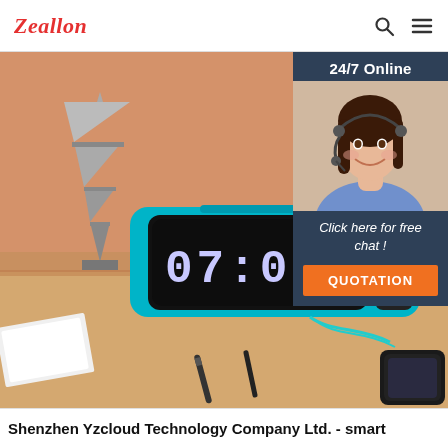Zeallon
[Figure (photo): Product photo of a teal/blue digital alarm clock speaker showing 07:06 T&G 22°C on its LED display, placed on a wooden desk with an Eiffel Tower figurine, pen, and smartphone in the background]
24/7 Online
[Figure (photo): Customer service representative woman with headset smiling]
Click here for free chat !
QUOTATION
Shenzhen Yzcloud Technology Company Ltd. - smart